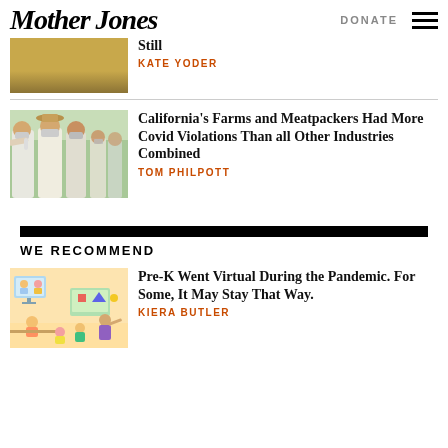Mother Jones | DONATE
[Figure (photo): Wheat or grain field, partial view at top of page]
Still
KATE YODER
[Figure (photo): People wearing masks getting temperature checked outdoors at a farm]
California's Farms and Meatpackers Had More Covid Violations Than all Other Industries Combined
TOM PHILPOTT
WE RECOMMEND
[Figure (illustration): Colorful illustration of children doing virtual Pre-K learning on screens]
Pre-K Went Virtual During the Pandemic. For Some, It May Stay That Way.
KIERA BUTLER